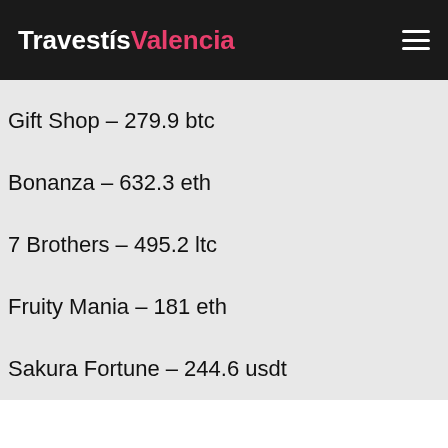TravestísValencia
Gift Shop – 279.9 btc
Bonanza – 632.3 eth
7 Brothers – 495.2 ltc
Fruity Mania – 181 eth
Sakura Fortune – 244.6 usdt